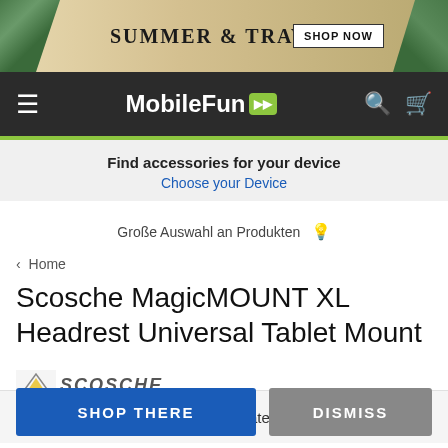[Figure (screenshot): Summer & Travel banner advertisement with sunglasses, tropical leaves, and Shop Now button]
MobileFun — navigation bar with hamburger menu, MobileFun logo with green play icon, search and cart icons
Find accessories for your device
Choose your Device
Große Auswahl an Produkten 💡
‹ Home
Scosche MagicMOUNT XL Headrest Universal Tablet Mount
[Figure (logo): Scosche brand logo]
🇺🇸 Looks like you're in United States...
SHOP THERE
DISMISS